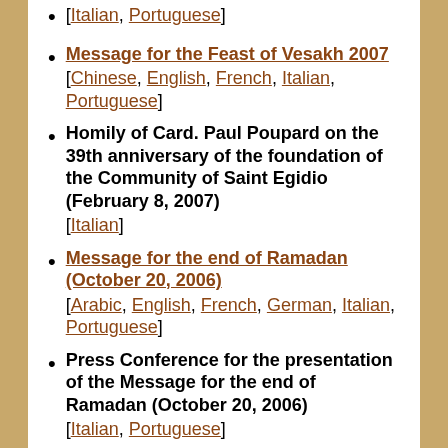[Italian, Portuguese]
Message for the Feast of Vesakh 2007
[Chinese, English, French, Italian, Portuguese]
Homily of Card. Paul Poupard on the 39th anniversary of the foundation of the Community of Saint Egidio (February 8, 2007)
[Italian]
Message for the end of Ramadan (October 20, 2006)
[Arabic, English, French, German, Italian, Portuguese]
Press Conference for the presentation of the Message for the end of Ramadan (October 20, 2006)
[Italian, Portuguese]